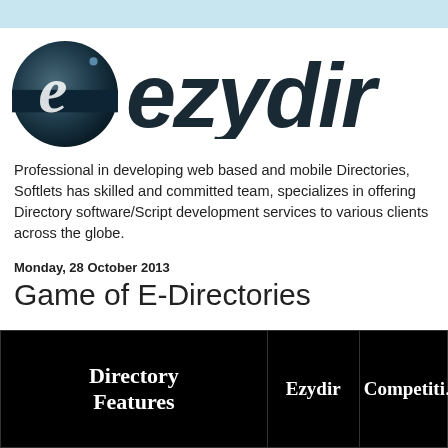[Figure (logo): Ezydir logo: circular dark gradient icon with stylized 'e' on left, 'ezydir' text in dark sans-serif italic on right]
Professional in developing web based and mobile Directories, Softlets has skilled and committed team, specializes in offering Directory software/Script development services to various clients across the globe.
Monday, 28 October 2013
Game of E-Directories
| Directory
Features | Ezydir | Competiti… |
| --- | --- | --- |